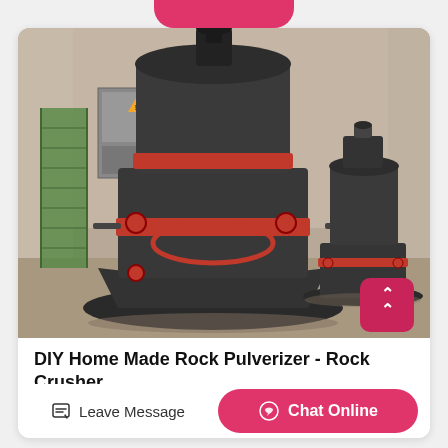[Figure (photo): Industrial rock pulverizer / rock crusher machines in a factory warehouse. Two large cylindrical dark grey grinding mills with red accent rings, sitting on circular bases. Background shows concrete walls and industrial equipment.]
DIY Home Made Rock Pulverizer - Rock Crusher
YouTube
Leave Message
Chat Online